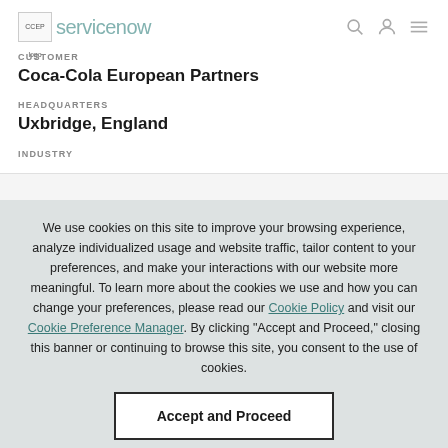[Figure (logo): CCEP logo and ServiceNow website header with search, user, and menu icons]
CUSTOMER
Coca-Cola European Partners
HEADQUARTERS
Uxbridge, England
INDUSTRY
We use cookies on this site to improve your browsing experience, analyze individualized usage and website traffic, tailor content to your preferences, and make your interactions with our website more meaningful. To learn more about the cookies we use and how you can change your preferences, please read our Cookie Policy and visit our Cookie Preference Manager. By clicking "Accept and Proceed," closing this banner or continuing to browse this site, you consent to the use of cookies.
Accept and Proceed